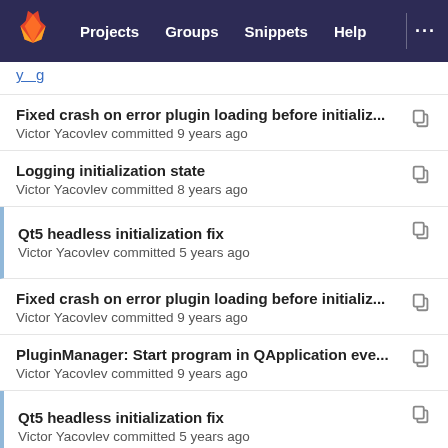GitLab navigation: Projects, Groups, Snippets, Help
Fixed crash on error plugin loading before initializ... — Victor Yacovlev committed 9 years ago
Logging initialization state — Victor Yacovlev committed 8 years ago
Qt5 headless initialization fix — Victor Yacovlev committed 5 years ago
Fixed crash on error plugin loading before initializ... — Victor Yacovlev committed 9 years ago
PluginManager: Start program in QApplication eve... — Victor Yacovlev committed 9 years ago
Qt5 headless initialization fix — Victor Yacovlev committed 5 years ago